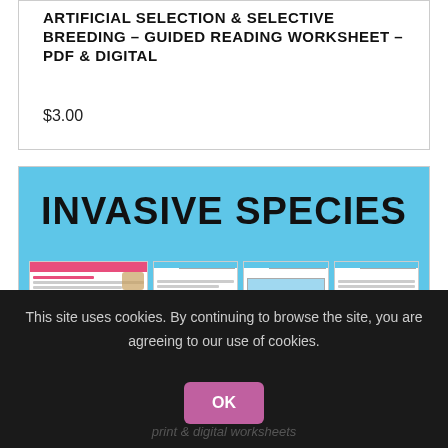ARTIFICIAL SELECTION & SELECTIVE BREEDING - GUIDED READING WORKSHEET - PDF & DIGITAL
$3.00
[Figure (screenshot): Preview image of Invasive Species worksheet product showing blue header with bold text 'INVASIVE SPECIES' and sample worksheet pages below]
This site uses cookies. By continuing to browse the site, you are agreeing to our use of cookies.
OK
print & digital worksheets